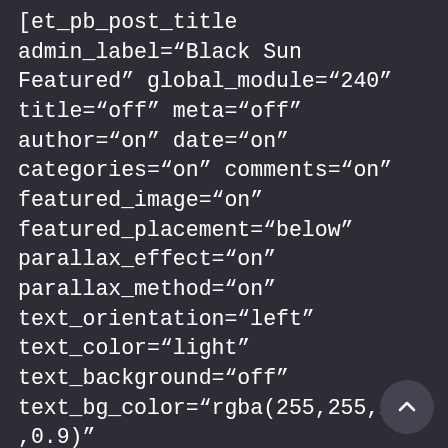[et_pb_post_title admin_label="Black Sun Featured" global_module="240" title="off" meta="off" author="on" date="on" categories="on" comments="on" featured_image="on" featured_placement="below" parallax_effect="on" parallax_method="on" text_orientation="left" text_color="light" text_background="off" text_bg_color="rgba(255,255,255,0.9)" module_bg_color="rgba(255,255,255,0)" title_all_caps="off" use_border_color="off" border_color="#ffffff" border_style="solid" saved_tabs="all" /][et_pb_text admin_label="White Night/Black Sun Chapters" saved_tabs="all" background_layout="light" text_orientation="left" use_border_color="off" border_color="#ffffff" border_style="solid" global_module="2844"]